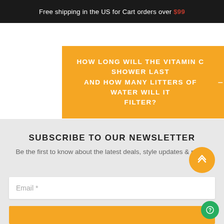Free shipping in the US for Cart orders over $99
HOW LONG WILL THE VITAMIN C SHOWER LAST AND HOW MANY LITTERS OF WATER WILL IT FILTER?
SUBSCRIBE TO OUR NEWSLETTER
Be the first to know about the latest deals, style updates & more!
Email *